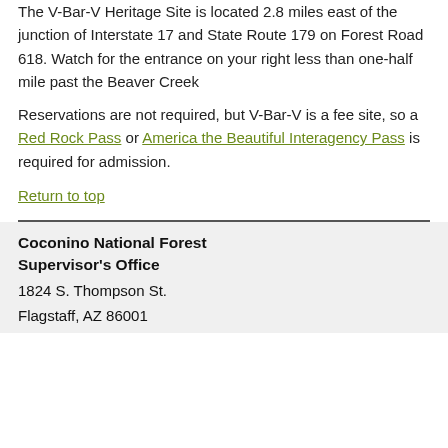The V-Bar-V Heritage Site is located 2.8 miles east of the junction of Interstate 17 and State Route 179 on Forest Road 618. Watch for the entrance on your right less than one-half mile past the Beaver Creek
Reservations are not required, but V-Bar-V is a fee site, so a Red Rock Pass or America the Beautiful Interagency Pass is required for admission.
Return to top
Coconino National Forest Supervisor's Office
1824 S. Thompson St.
Flagstaff, AZ 86001